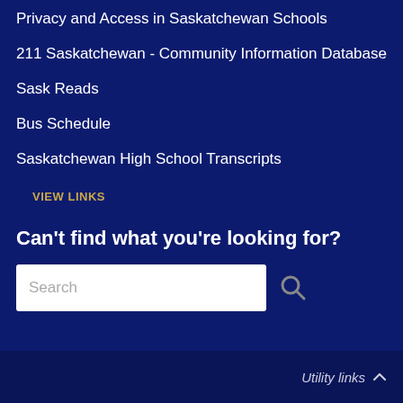Privacy and Access in Saskatchewan Schools
211 Saskatchewan - Community Information Database
Sask Reads
Bus Schedule
Saskatchewan High School Transcripts
VIEW LINKS
Can't find what you're looking for?
Search
Utility links